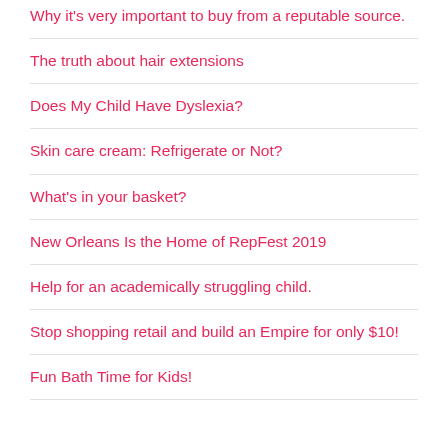Why it's very important to buy from a reputable source.
The truth about hair extensions
Does My Child Have Dyslexia?
Skin care cream: Refrigerate or Not?
What's in your basket?
New Orleans Is the Home of RepFest 2019
Help for an academically struggling child.
Stop shopping retail and build an Empire for only $10!
Fun Bath Time for Kids!